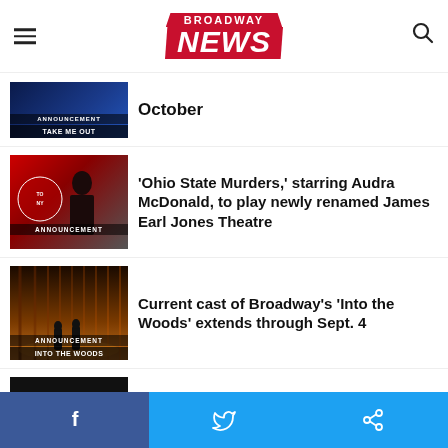Broadway News
[Figure (screenshot): Thumbnail for 'Take Me Out' announcement article — partial/cropped at top]
October
[Figure (photo): Thumbnail of Audra McDonald at Tony Awards red carpet, labeled ANNOUNCEMENT]
‘Ohio State Murders,’ starring Audra McDonald, to play newly renamed James Earl Jones Theatre
[Figure (photo): Thumbnail of Into the Woods stage set, labeled ANNOUNCEMENT and INTO THE WOODS]
Current cast of Broadway’s ‘Into the Woods’ extends through Sept. 4
[Figure (screenshot): Thumbnail with Broadway Exclusive badge, labeled ANNOUNCEMENT]
Black Theatre United and Alexander Consulting Group to create digital unconscious bias training program for entire theater industry